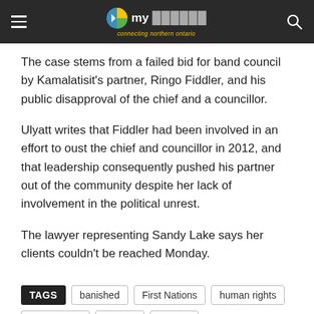my [site] — connecting northern ontario
The case stems from a failed bid for band council by Kamalatisit's partner, Ringo Fiddler, and his public disapproval of the chief and a councillor.
Ulyatt writes that Fiddler had been involved in an effort to oust the chief and councillor in 2012, and that leadership consequently pushed his partner out of the community despite her lack of involvement in the political unrest.
The lawyer representing Sandy Lake says her clients couldn't be reached Monday.
TAGS: banished, First Nations, human rights, Sandy Lake, tribunal, woman